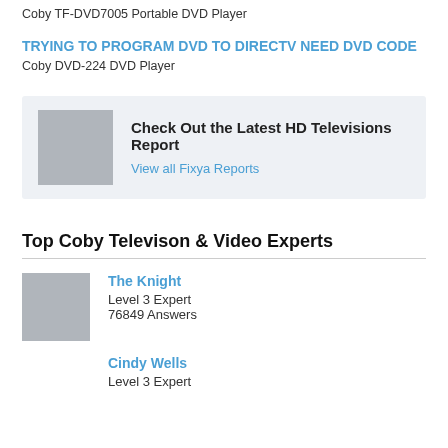Coby TF-DVD7005 Portable DVD Player
TRYING TO PROGRAM DVD TO DIRECTV NEED DVD CODE
Coby DVD-224 DVD Player
[Figure (other): Advertisement box with gray image placeholder and text: Check Out the Latest HD Televisions Report. View all Fixya Reports.]
Top Coby Televison & Video Experts
The Knight
Level 3 Expert
76849 Answers
Cindy Wells
Level 3 Expert